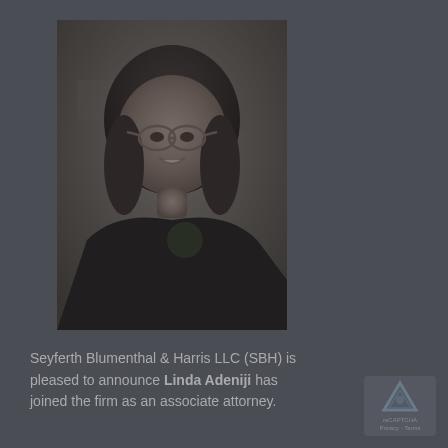[Figure (photo): Portrait photo of Linda Adeniji, a woman with shoulder-length dark hair and glasses, wearing a dark top, smiling at the camera against a blurred background]
Seyferth Blumenthal & Harris LLC (SBH) is pleased to announce Linda Adeniji has joined the firm as an associate attorney.